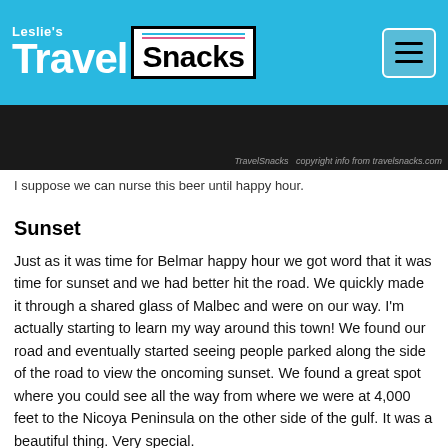Leslie's Travel Snacks
[Figure (photo): Dark image strip with Travel Snacks watermark text visible at right side]
I suppose we can nurse this beer until happy hour.
Sunset
Just as it was time for Belmar happy hour we got word that it was time for sunset and we had better hit the road. We quickly made it through a shared glass of Malbec and were on our way. I'm actually starting to learn my way around this town! We found our road and eventually started seeing people parked along the side of the road to view the oncoming sunset. We found a great spot where you could see all the way from where we were at 4,000 feet to the Nicoya Peninsula on the other side of the gulf. It was a beautiful thing. Very special.